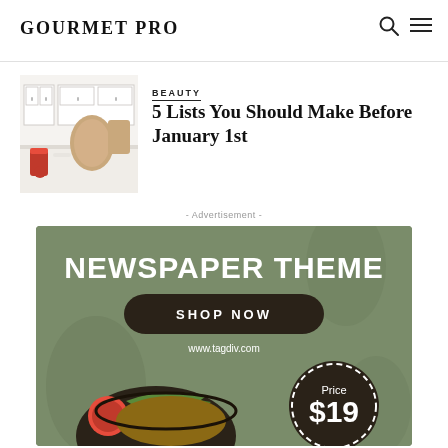GOURMET PRO
[Figure (photo): Kitchen interior with white cabinets, wooden cutting boards, and red canister]
BEAUTY
5 Lists You Should Make Before January 1st
- Advertisement -
[Figure (infographic): Green advertisement banner for Newspaper Theme with SHOP NOW button, price $19, www.tagdiv.com, and food bowl image]